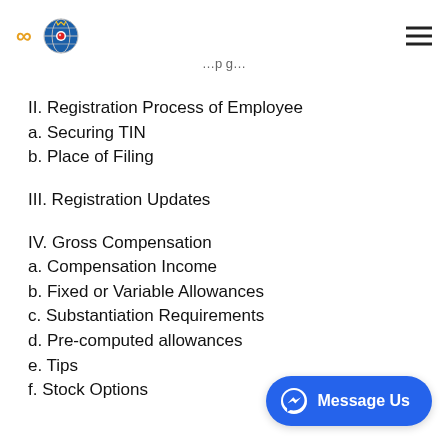II. Registration Process of Employee
a. Securing TIN
b. Place of Filing
III. Registration Updates
IV. Gross Compensation
a. Compensation Income
b. Fixed or Variable Allowances
c. Substantiation Requirements
d. Pre-computed allowances
e. Tips
f. Stock Options